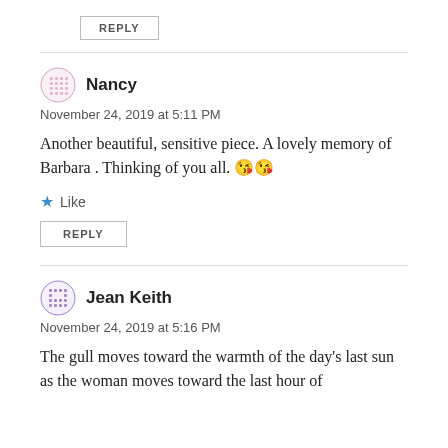REPLY
Nancy
November 24, 2019 at 5:11 PM
Another beautiful, sensitive piece. A lovely memory of Barbara . Thinking of you all. 😘😘
Like
REPLY
Jean Keith
November 24, 2019 at 5:16 PM
The gull moves toward the warmth of the day's last sun as the woman moves toward the last hour of